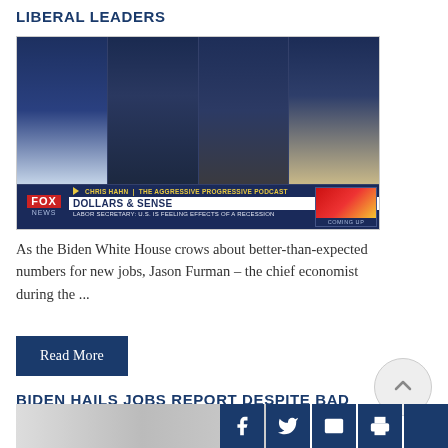LIBERAL LEADERS
[Figure (screenshot): Fox News broadcast screenshot showing four panelists on 'Dollars & Sense' segment. Lower bar shows Fox News logo, 'CHRIS HAHN | THE AGGRESSIVE PROGRESSIVE PODCAST', headline 'DOLLARS & SENSE', and ticker 'LABOR SECRETARY: U.S. IS FEELING EFFECTS OF A RECESSION'. Coming up thumbnail in corner.]
As the Biden White House crows about better-than-expected numbers for new jobs, Jason Furman – the chief economist during the ...
Read More
BIDEN HAILS JOBS REPORT DESPITE BAD NEWS FOR BLACKS
[Figure (photo): Partial photo visible at bottom of page, appears to be a building exterior]